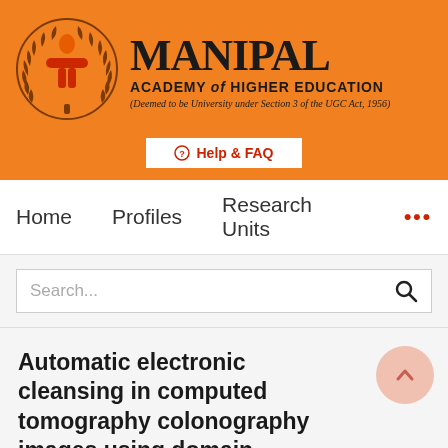[Figure (logo): Manipal Academy of Higher Education logo with circular emblem showing orange figure with laurel wreath and 'INSPIRED BY LIFE' text]
MANIPAL
ACADEMY of HIGHER EDUCATION
(Deemed to be University under Section 3 of the UGC Act, 1956)
Help & FAQ
Home    Profiles    Research Units    ...
Search...
Automatic electronic cleansing in computed tomography colonography images using domain knowledge